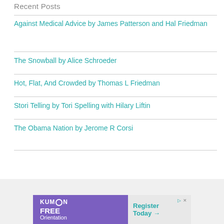Recent Posts
Against Medical Advice by James Patterson and Hal Friedman
The Snowball by Alice Schroeder
Hot, Flat, And Crowded by Thomas L Friedman
Stori Telling by Tori Spelling with Hilary Liftin
The Obama Nation by Jerome R Corsi
[Figure (infographic): Kumon advertisement banner with purple left section showing KUMON logo and FREE Orientation text, and light gray right section with Register Today arrow text in teal]